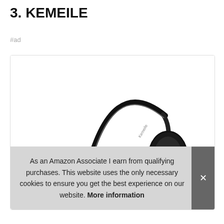3. KEMEILE
#ad
[Figure (photo): A black KEMEILE wireless mono headset with a single ear cup and microphone boom arm on a white background.]
As an Amazon Associate I earn from qualifying purchases. This website uses the only necessary cookies to ensure you get the best experience on our website. More information